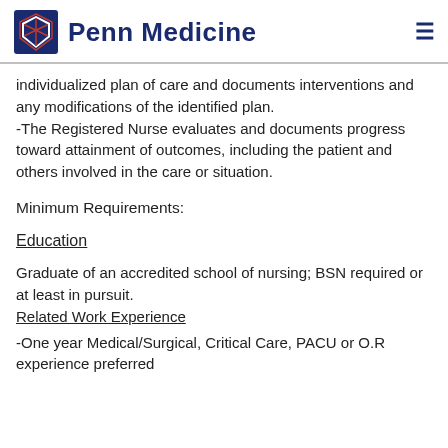Penn Medicine
individualized plan of care and documents interventions and any modifications of the identified plan.
-The Registered Nurse evaluates and documents progress toward attainment of outcomes, including the patient and others involved in the care or situation.
Minimum Requirements:
Education
Graduate of an accredited school of nursing; BSN required or at least in pursuit.
Related Work Experience
-One year Medical/Surgical, Critical Care, PACU or O.R experience preferred